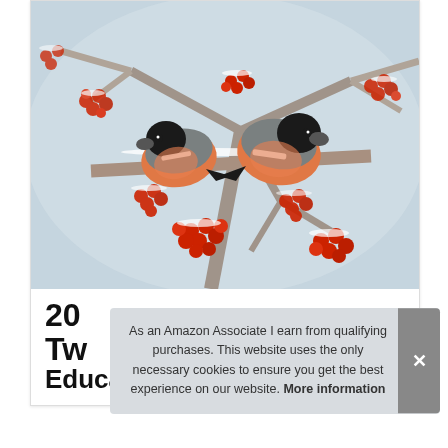[Figure (photo): Two bullfinch birds with orange-red breasts perched on snowy branches covered with clusters of red berries (rowan/mountain ash), winter scene with frosty background]
As an Amazon Associate I earn from qualifying purchases. This website uses the only necessary cookies to ensure you get the best experience on our website. More information
20 Two Educational Game Challenge Toy 2000